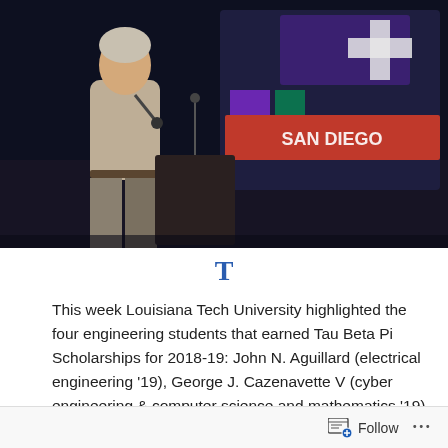[Figure (photo): A man speaking at a podium holding a microphone, with a dark stage background and colorful display/sign visible behind him reading 'SAN DIEGO']
T
This week Louisiana Tech University highlighted the four engineering students that earned Tau Beta Pi Scholarships for 2018-19: John N. Aguillard (electrical engineering '19), George J. Cazenavette V (cyber engineering & computer science and mathematics '19), Marshall G. Schoth (mechanical engineering '19), and Reed D. Streets (electrical engineering '19).
According to the news article, "it is the third year in a row
Follow ...